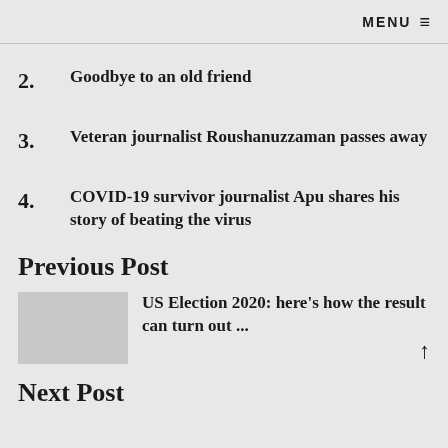MENU ≡
2. Goodbye to an old friend
3. Veteran journalist Roushanuzzaman passes away
4. COVID-19 survivor journalist Apu shares his story of beating the virus
Previous Post
US Election 2020: here's how the result can turn out ...